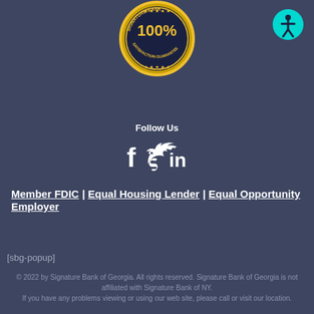[Figure (logo): Signature Bank gold seal badge with '100% Satisfaction Guarantee' text and star decorations]
[Figure (logo): Accessibility icon - circular teal button with person/wheelchair symbol]
Follow Us
[Figure (illustration): Social media icons: Facebook (f), Twitter (bird), LinkedIn (in)]
Member FDIC | Equal Housing Lender | Equal Opportunity Employer
[sbg-popup]
© 2022 by Signature Bank of Georgia. All rights reserved. Signature Bank of Georgia is not affiliated with Signature Bank of NY. If you have any problems viewing or using our web site, please call or visit our location.